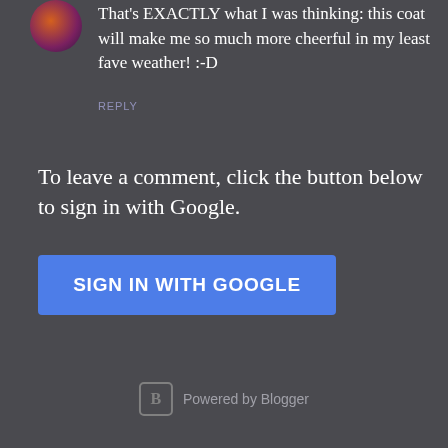[Figure (photo): Small circular avatar photo of a user, colorful with warm tones]
That's EXACTLY what I was thinking: this coat will make me so much more cheerful in my least fave weather! :-D
REPLY
To leave a comment, click the button below to sign in with Google.
[Figure (other): Blue button labeled SIGN IN WITH GOOGLE]
Powered by Blogger